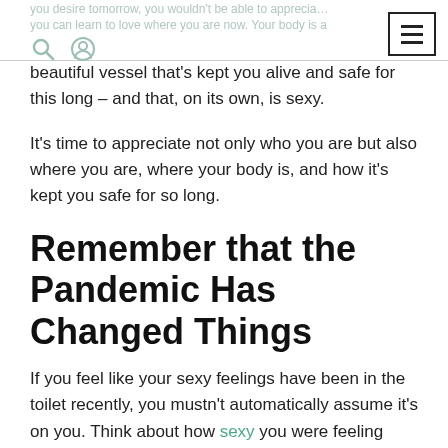you desire tomorrow, you wouldn't be able to appreciate – you can learn to love where you are now. Your body is a
beautiful vessel that's kept you alive and safe for this long – and that, on its own, is sexy.
It's time to appreciate not only who you are but also where you are, where your body is, and how it's kept you safe for so long.
Remember that the Pandemic Has Changed Things
If you feel like your sexy feelings have been in the toilet recently, you mustn't automatically assume it's on you. Think about how sexy you were feeling before the pandemic as opposed to now – notice any difference?